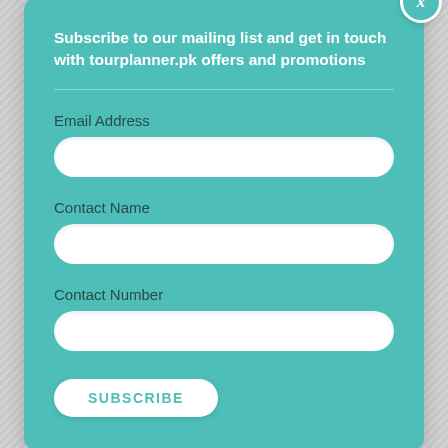Subscribe to our mailing list and get in touch with tourplanner.pk offers and promotions
Email Address
Contact Name
Contact Number
SUBSCRIBE